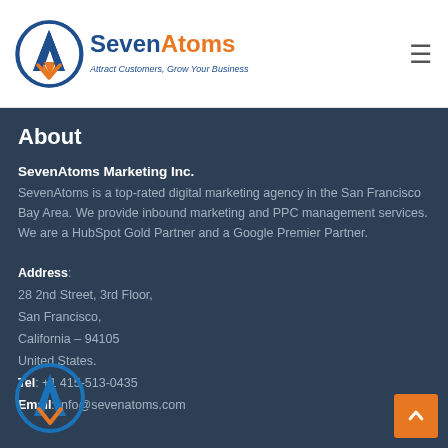[Figure (logo): SevenAtoms logo with circular icon and tagline 'Attract Customers, Grow Your Business']
About
SevenAtoms Marketing Inc.
SevenAtoms is a top-rated digital marketing agency in the San Francisco Bay Area. We provide inbound marketing and PPC management services. We are a HubSpot Gold Partner and a Google Premier Partner.
Address:
28 2nd Street, 3rd Floor,
San Francisco,
California – 94105
United States.
Tel: +1 415-513-0435
Email: info@sevenatoms.com
[Figure (logo): SevenAtoms circular icon logo at bottom left]